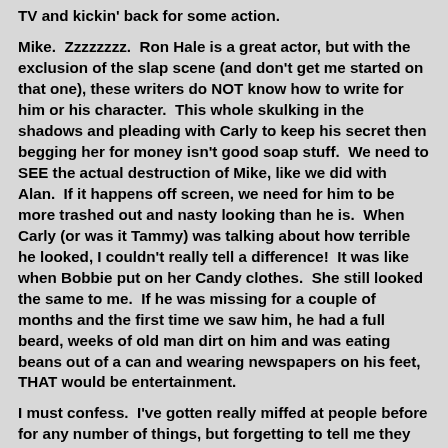TV and kickin' back for some action.
Mike.  Zzzzzzzz.  Ron Hale is a great actor, but with the exclusion of the slap scene (and don't get me started on that one), these writers do NOT know how to write for him or his character.  This whole skulking in the shadows and pleading with Carly to keep his secret then begging her for money isn't good soap stuff.  We need to SEE the actual destruction of Mike, like we did with Alan.  If it happens off screen, we need for him to be more trashed out and nasty looking than he is.  When Carly (or was it Tammy) was talking about how terrible he looked, I couldn't really tell a difference!  It was like when Bobbie put on her Candy clothes.  She still looked the same to me.  If he was missing for a couple of months and the first time we saw him, he had a full beard, weeks of old man dirt on him and was eating beans out of a can and wearing newspapers on his feet, THAT would be entertainment.
I must confess.  I've gotten really miffed at people before for any number of things, but forgetting to tell me they had a million dollars isn't up there in the top ten. I thought it was really cute the way Gia stayed on to protect Nikolas from "Granny the Psycho" (If ONLY Helena could here her new moniker - heh, heh, heh).  Although neither one is in threat of carting home a Daytime Emmy anywhere soon, I do like those two.